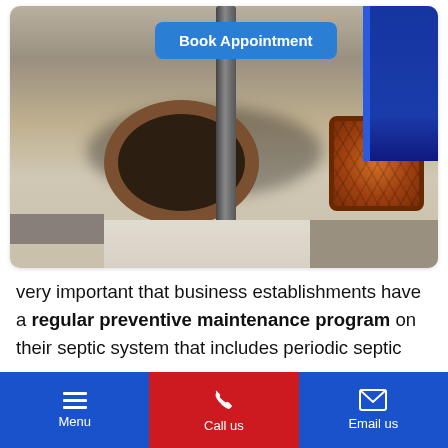[Figure (photo): Photo of a manhole being serviced — an open manhole cover with a tool/pipe inserted, the removed orange/rust-colored cover to the right, a worker in blue clothing visible on the right, and concrete pavement around the opening. A blue 'Book Appointment' button overlays the top portion of the image.]
very important that business establishments have a regular preventive maintenance program on their septic system that includes periodic septic pumping. The absence of regular preventive maintenance could cause a failure in the system that is very detrimental to
Menu   Call us   Email us